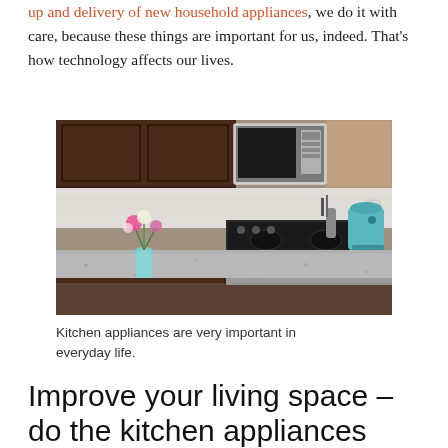up and delivery of new household appliances, we do it with care, because these things are important for us, indeed. That's how technology affects our lives.
[Figure (photo): A kitchen countertop with dark wood cabinets, a stainless steel over-the-range microwave, a flower vase with colorful flowers, and a blue stand mixer visible on the right counter.]
Kitchen appliances are very important in everyday life.
Improve your living space – do the kitchen appliances upgrade